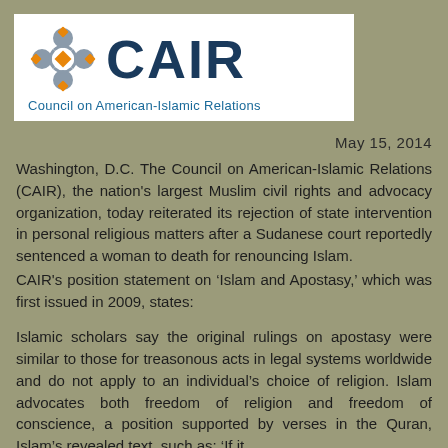[Figure (logo): CAIR (Council on American-Islamic Relations) logo with decorative flower/cross symbol in blue, orange and gray, followed by the text 'CAIR' in dark blue and 'Council on American-Islamic Relations' in blue below]
May 15, 2014
Washington, D.C. The Council on American-Islamic Relations (CAIR), the nation's largest Muslim civil rights and advocacy organization, today reiterated its rejection of state intervention in personal religious matters after a Sudanese court reportedly sentenced a woman to death for renouncing Islam.
CAIR's position statement on ‘Islam and Apostasy,’ which was first issued in 2009, states:
Islamic scholars say the original rulings on apostasy were similar to those for treasonous acts in legal systems worldwide and do not apply to an individual’s choice of religion. Islam advocates both freedom of religion and freedom of conscience, a position supported by verses in the Quran, Islam’s revealed text, such as: ‘If it